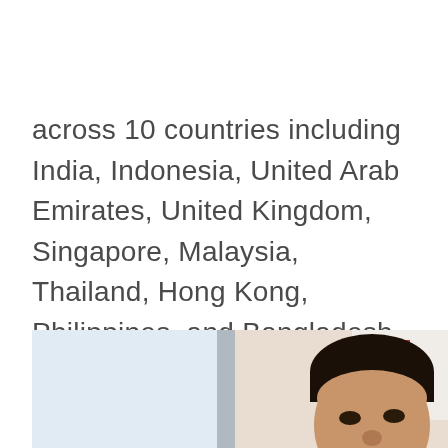across 10 countries including India, Indonesia, United Arab Emirates, United Kingdom, Singapore, Malaysia, Thailand, Hong Kong, Philippines, and Bangladesh.
[Figure (photo): Photograph of a man, partially visible, taken indoors near a window. The right side shows the man's face and upper body. The left side shows a blurred outdoor scene through glass.]